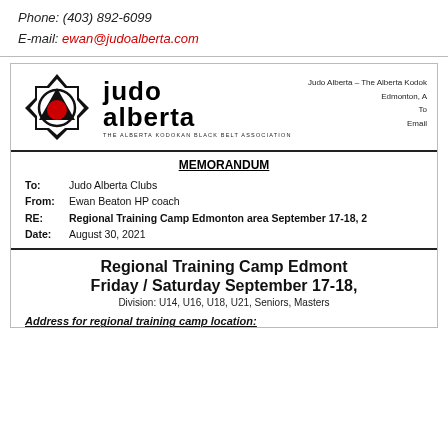Phone: (403) 892-6099
E-mail: ewan@judoalberta.com
[Figure (logo): Judo Alberta logo with geometric star/diamond symbol containing a red circle, beside text 'judo alberta' and tagline THE ALBERTA KODOKAN BLACK BELT ASSOCIATION]
Judo Alberta – The Alberta Kodok... Edmonton, A... To... Email...
MEMORANDUM
To:    Judo Alberta Clubs
From: Ewan Beaton HP coach
RE:    Regional Training Camp Edmonton area September 17-18, 2...
Date: August 30, 2021
Regional Training Camp Edmont... Friday / Saturday September 17-18,
Division: U14, U16, U18, U21, Seniors, Masters
Address for regional training camp location: